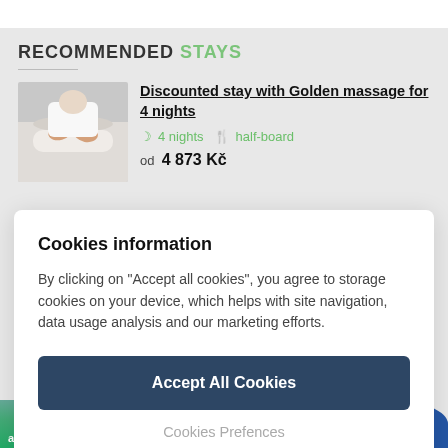RECOMMENDED STAYS
[Figure (photo): Photo of a massage therapy session, showing hands performing a massage on a person's back]
Discounted stay with Golden massage for 4 nights
4 nights   half-board
od   4 873 Kč
Cookies information
By clicking on "Accept all cookies", you agree to storage cookies on your device, which helps with site navigation, data usage analysis and our marketing efforts.
Accept All Cookies
Cookies Prefences
akci a aktivit